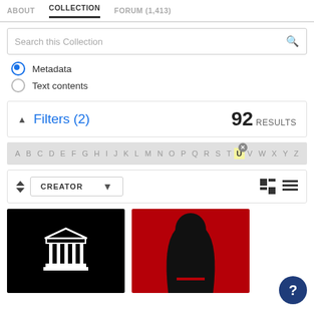ABOUT  COLLECTION  FORUM (1,413)
Search this Collection
Metadata
Text contents
Filters (2)  92 RESULTS
A B C D E F G H I J K L M N O P Q R S T U V W X Y Z
CREATOR
[Figure (screenshot): Black background with white Greek temple/museum icon]
[Figure (screenshot): Red background with black silhouette of hooded figure]